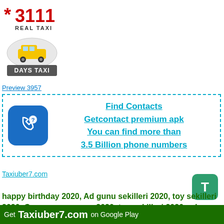[Figure (logo): 3111 Real Taxi logo - red star with number 3111 and text REAL TAXI]
[Figure (logo): Days Taxi logo - circular badge with yellow taxi car and text DAYS TAXI]
Preview 3957
[Figure (infographic): Advertisement box with dashed cyan border containing phone icon and text: Find Contacts, Getcontact premium apk, You can find more than 3.5 Billion phone numbers]
Taxiuber7.com
happy birthday 2020, Ad gunu sekilleri 2020, toy sekilleri 2020, С днем рождения 2020, toy şəkilləri 2020, ad gunu şəkilləri 2020, wedding dresses 2020,